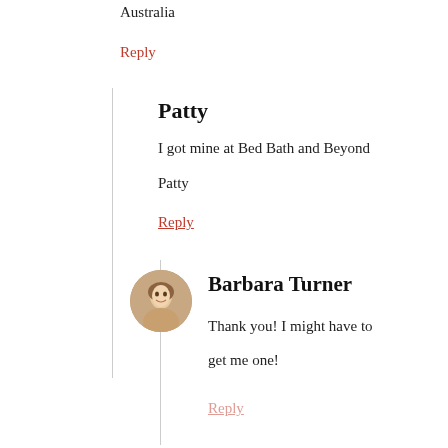Australia
Reply
Patty
I got mine at Bed Bath and Beyond
Patty
Reply
[Figure (photo): Avatar photo of Barbara Turner, a woman with blonde hair]
Barbara Turner
Thank you! I might have to get me one!
Reply